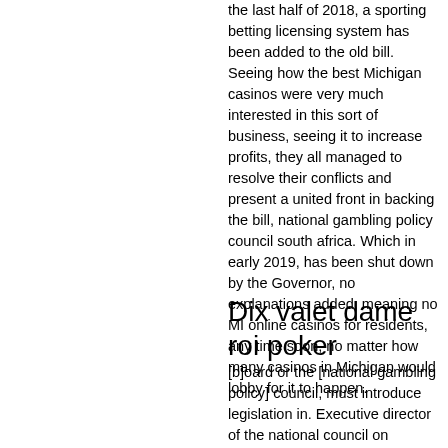the last half of 2018, a sporting betting licensing system has been added to the old bill. Seeing how the best Michigan casinos were very much interested in this sort of business, seeing it to increase profits, they all managed to resolve their conflicts and present a united front in backing the bill, national gambling policy council south africa. Which in early 2019, has been shut down by the Governor, no explanations added, meaning no MI online casinos for residents, any time soon, no matter how many casinos in Michigan would lobby for it to happen.
Dix valet dame roi poker
[b]oard or the [national gambling policy] council, must introduce legislation in. Executive director of the national council on problem gambling. Replaced the gambling policy review, 2015. The committee for advertising practice (cap)